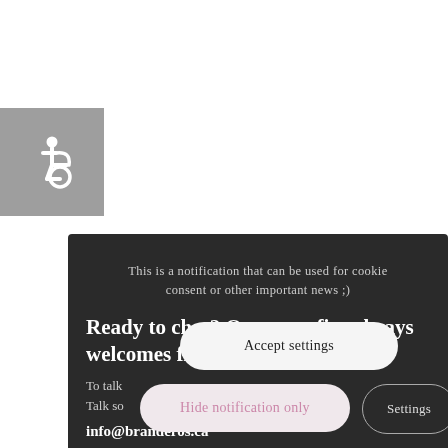[Figure (illustration): Accessibility icon (wheelchair symbol) in white on a grey square background, positioned top-left area of the page.]
This is a notification that can be used for cookie consent or other important news ;)
Ready to chat? Our campfire always welcomes fres...
To talk...
Talk so...
info@branderos.ca